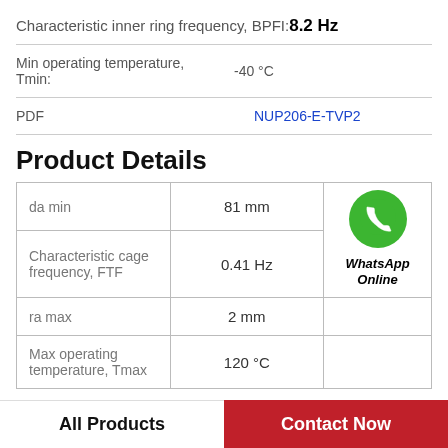Characteristic inner ring frequency, BPFI: 8.2 Hz
Min operating temperature, Tmin: -40 °C
PDF  NUP206-E-TVP2
Product Details
| Parameter | Value |  |
| --- | --- | --- |
| da min | 81 mm | WhatsApp Online |
| Characteristic cage frequency, FTF | 0.41 Hz |  |
| ra max | 2 mm |  |
| Max operating temperature, Tmax | 120 °C |  |
All Products
Contact Now